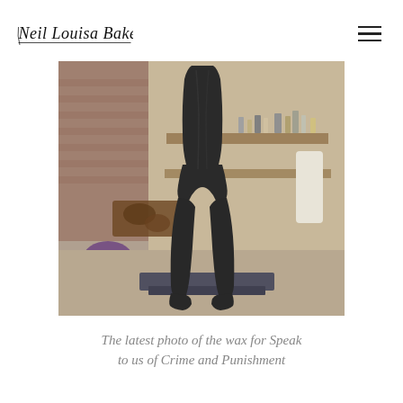Neil Louisa Baker
[Figure (photo): A dark matte black sculpture of a headless human figure (torso and legs) standing on a flat dark base, photographed in an artist's studio workshop with brick walls and various materials and tools in the background.]
The latest photo of the wax for Speak to us of Crime and Punishment